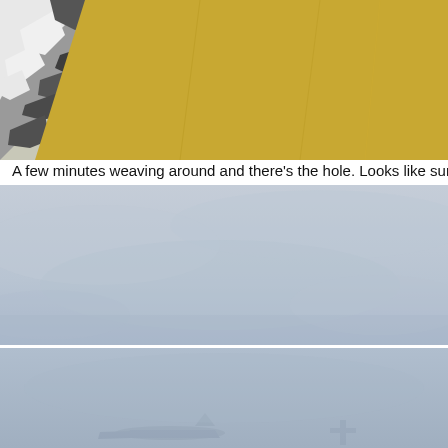[Figure (photo): Close-up of a yellow/golden tent fabric with snow-covered rocky mountain terrain visible in the background on the left side.]
A few minutes weaving around and there's the hole. Looks like sunshine!
[Figure (photo): Sky view showing overcast or partly cloudy sky in light grey-blue tones, suggesting a break or hole in the clouds.]
[Figure (photo): Another sky or aerial photo in grey-blue tones with faint silhouettes of aircraft or structures visible at the bottom.]